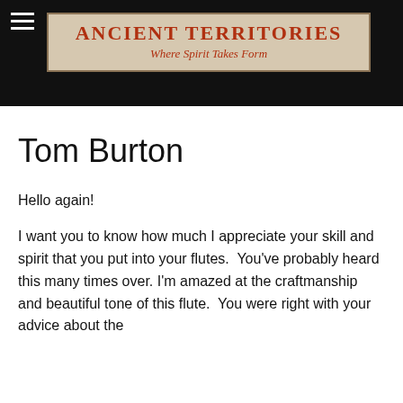[Figure (logo): Ancient Territories website header logo on wood-textured background with text 'ANCIENT TERRITORIES' and tagline 'Where Spirit Takes Form']
Tom Burton
Hello again!
I want you to know how much I appreciate your skill and spirit that you put into your flutes.  You've probably heard this many times over. I'm amazed at the craftmanship and beautiful tone of this flute.  You were right with your advice about the